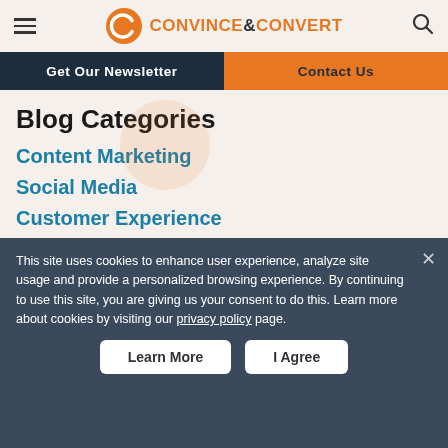CONVINCE&CONVERT
Get Our Newsletter
Contact Us
Blog Categories
Content Marketing
Social Media
Customer Experience
Digital Marketing
Influencer Marketing
General
This site uses cookies to enhance user experience, analyze site usage and provide a personalized browsing experience. By continuing to use this site, you are giving us your consent to do this. Learn more about cookies by visiting our privacy policy page.
You might also like